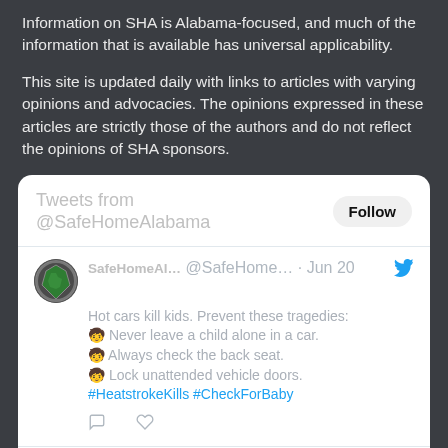Information on SHA is Alabama-focused, and much of the information that is available has universal applicability.
This site is updated daily with links to articles with varying opinions and advocacies. The opinions expressed in these articles are strictly those of the authors and do not reflect the opinions of SHA sponsors.
[Figure (screenshot): Embedded Twitter widget showing tweets from @SafeHomeAlabama. Header shows 'Tweets from @SafeHomeAlabama' with a Follow button. First tweet by SafeHomeAl... @SafeHome... Jun 20: 'Hot cars kill kids. Prevent these tragedies: [emoji] Never leave a child alone in a car. [emoji] Always check the back seat. [emoji] Lock unattended vehicle doors. #HeatstrokeKills #CheckForBaby'. Second tweet partially visible by SafeHomeAl... @SafeHomeAl... Jun 6.]